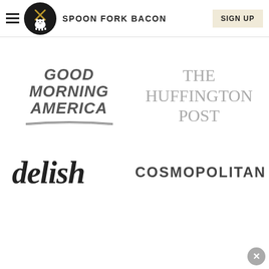SPOON FORK BACON — SIGN UP
[Figure (logo): Good Morning America logo (stylized italic text with swoosh underline)]
[Figure (logo): The Huffington Post logo (serif text)]
[Figure (logo): delish logo (black serif italic)]
[Figure (logo): COSMOPOLITAN logo (dark gray condensed caps)]
ASIAN INSPIRED
BBQ
PORK